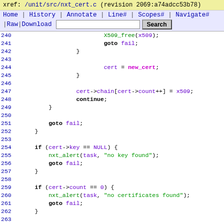xref: /unit/src/nxt_cert.c (revision 2069:a74adcc53b78)
Home | History | Annotate | Line# | Scopes# | Navigate# | Raw | Download   [Search]
Code listing lines 240-264 of nxt_cert.c
240  X509_free(x509);
241  goto fail;
242      }
243
244          cert = new_cert;
245      }
246
247          cert->chain[cert->count++] = x509;
248          continue;
249      }
250
251      goto fail;
252  }
253
254  if (cert->key == NULL) {
255      nxt_alert(task, "no key found");
256      goto fail;
257  }
258
259  if (cert->count == 0) {
260      nxt_alert(task, "no certificates found");
261      goto fail;
262  }
263
264  return cert;